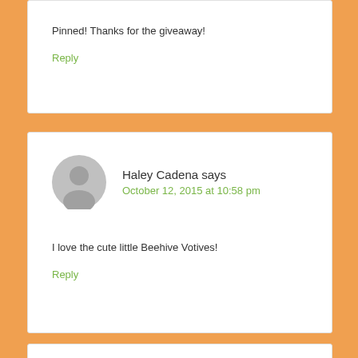Pinned! Thanks for the giveaway!
Reply
Haley Cadena says
October 12, 2015 at 10:58 pm
I love the cute little Beehive Votives!
Reply
Haley Cadena says